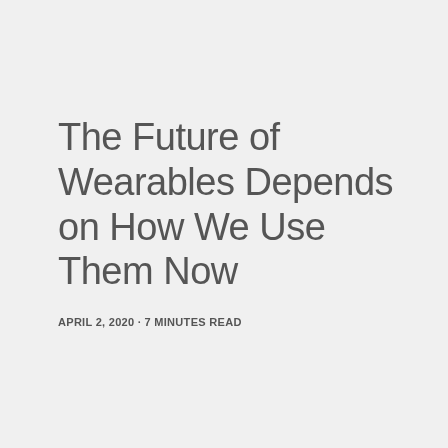The Future of Wearables Depends on How We Use Them Now
APRIL 2, 2020 · 7 MINUTES READ